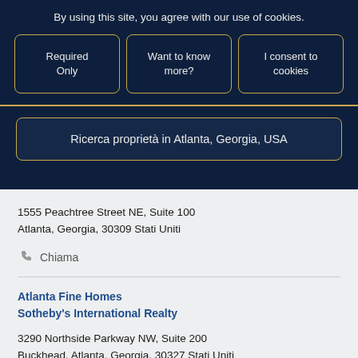By using this site, you agree with our use of cookies.
Required Only
Want to know more?
I consent to cookies
Ricerca proprietà in Atlanta, Georgia, USA
1555 Peachtree Street NE, Suite 100
Atlanta, Georgia, 30309 Stati Uniti
Chiama
Atlanta Fine Homes Sotheby's International Realty
3290 Northside Parkway NW, Suite 200
Buckhead, Atlanta, Georgia, 30327 Stati Uniti